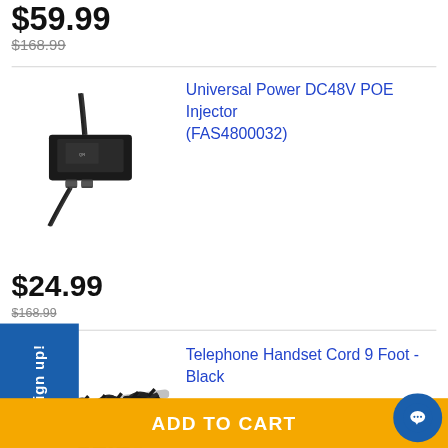$59.99
$168.99
Universal Power DC48V POE Injector (FAS4800032)
[Figure (photo): Universal Power DC48V POE Injector product photo showing a black power adapter with cables]
$24.99
$168.99
Telephone Handset Cord 9 Foot - Black
[Figure (photo): Telephone handset cord 9 foot black product photo showing a coiled black telephone cord]
$1.19
Sign up!
Sign up!
ADD TO CART